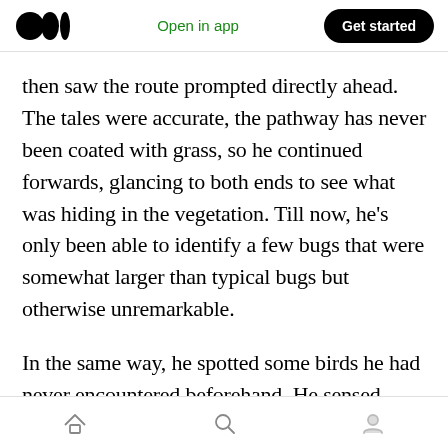Medium logo | Open in app | Get started
then saw the route prompted directly ahead. The tales were accurate, the pathway has never been coated with grass, so he continued forwards, glancing to both ends to see what was hiding in the vegetation. Till now, he’s only been able to identify a few bugs that were somewhat larger than typical bugs but otherwise unremarkable.
In the same way, he spotted some birds he had never encountered beforehand. He sensed something move behind him as he moved further, and because he couldn’t tell what it was owing to
Home | Search | Profile